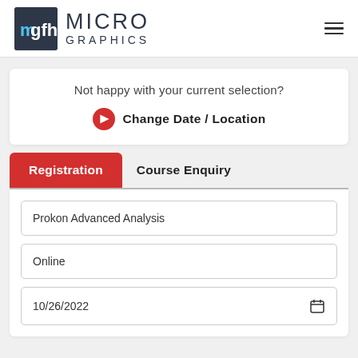[Figure (logo): Micrographics logo with dark square icon showing 'mgfh' in blue and white, and text 'MICRO GRAPHICS' beside it]
Not happy with your current selection?
Change Date / Location
Registration
Course Enquiry
Prokon Advanced Analysis
Online
10/26/2022